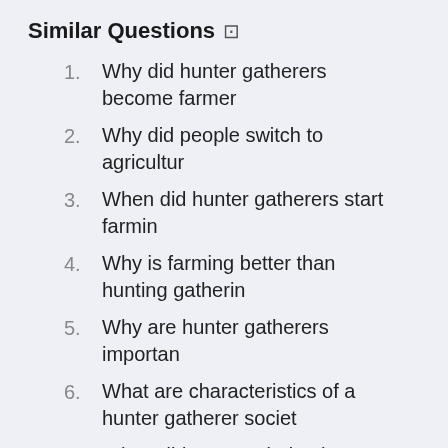Similar Questions
Why did hunter gatherers become farmer
Why did people switch to agricultur
When did hunter gatherers start farmin
Why is farming better than hunting gatherin
Why are hunter gatherers importan
What are characteristics of a hunter gatherer societ
When did we stop being hunter gatherer